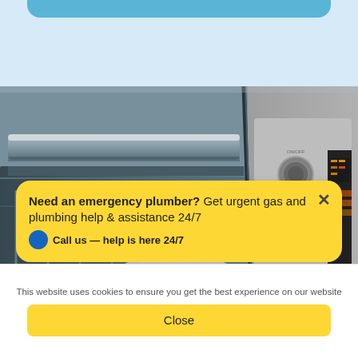[Figure (photo): Close-up photo of stainless steel home appliances including a dishwasher with open drawer and a washing machine or dryer with control panel buttons and digital display with orange indicators]
Need an emergency plumber? Get urgent gas and plumbing help & assistance 24/7
This website uses cookies to ensure you get the best experience on our website
Close